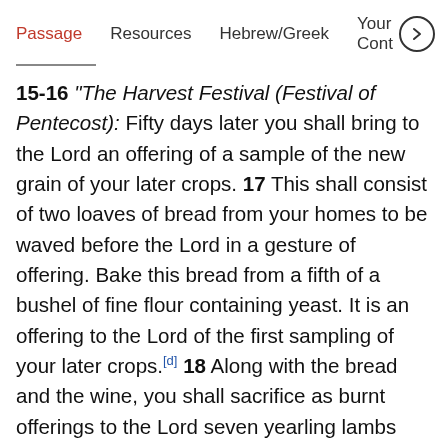Passage   Resources   Hebrew/Greek   Your Cont >
15-16 "The Harvest Festival (Festival of Pentecost): Fifty days later you shall bring to the Lord an offering of a sample of the new grain of your later crops. 17 This shall consist of two loaves of bread from your homes to be waved before the Lord in a gesture of offering. Bake this bread from a fifth of a bushel of fine flour containing yeast. It is an offering to the Lord of the first sampling of your later crops.[d] 18 Along with the bread and the wine, you shall sacrifice as burnt offerings to the Lord seven yearling lambs without defects, one young bull, and two rams. All are fire offerings, very acceptable to Jehovah.[e] 19 And you shall offer one male goat for a sin offering and two male yearling lambs for a peace offering.